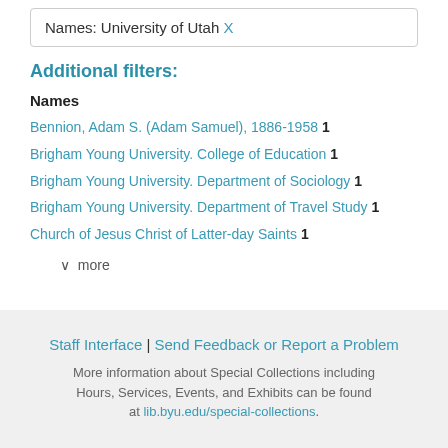Names: University of Utah X
Additional filters:
Names
Bennion, Adam S. (Adam Samuel), 1886-1958  1
Brigham Young University. College of Education  1
Brigham Young University. Department of Sociology  1
Brigham Young University. Department of Travel Study  1
Church of Jesus Christ of Latter-day Saints  1
∨  more
Staff Interface | Send Feedback or Report a Problem
More information about Special Collections including Hours, Services, Events, and Exhibits can be found at lib.byu.edu/special-collections.